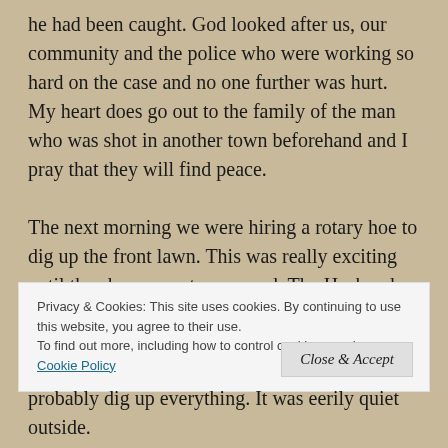he had been caught. God looked after us, our community and the police who were working so hard on the case and no one further was hurt. My heart does go out to the family of the man who was shot in another town beforehand and I pray that they will find peace.

The next morning we were hiring a rotary hoe to dig up the front lawn. This was really exciting until the above events occurred. The Husband and The Little Fulla went off to get it, not knowing at that stage whether the suspect had been caught or not, although it was very
Privacy & Cookies: This site uses cookies. By continuing to use this website, you agree to their use.
To find out more, including how to control cookies, see here: Cookie Policy
Close & Accept
probably dig up everything. It was eerily quiet outside.